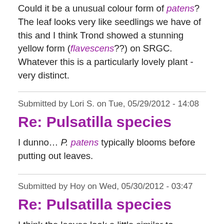Could it be a unusual colour form of patens? The leaf looks very like seedlings we have of this and I think Trond showed a stunning yellow form (flavescens??) on SRGC. Whatever this is a particularly lovely plant - very distinct.
Submitted by Lori S. on Tue, 05/29/2012 - 14:08
Re: Pulsatilla species
I dunno… P. patens typically blooms before putting out leaves.
Submitted by Hoy on Wed, 05/30/2012 - 03:47
Re: Pulsatilla species
I think the leaves look a little similar to vernalis.  But Middleton's plant has a different shape. Can it be a